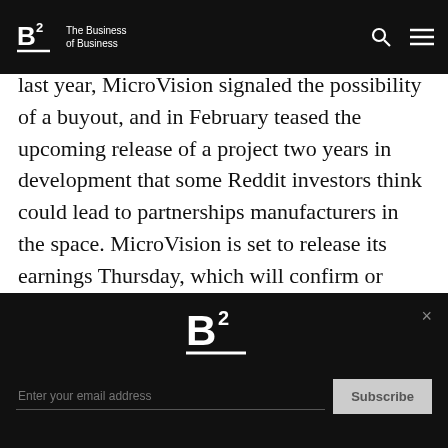B2 The Business of Business
cars rests firmly with manufacturers and not tech firms like the world once thought. Early last year, MicroVision signaled the possibility of a buyout, and in February teased the upcoming release of a project two years in development that some Reddit investors think could lead to partnerships manufacturers in the space. MicroVision is set to release its earnings Thursday, which will confirm or deny many a Redditor's suspicions. In that way, it's one of the few WSB investments that actually has some sound evidence behind it — no matter how much they tell you they like the stock.
B2 — Enter your email address — Subscribe